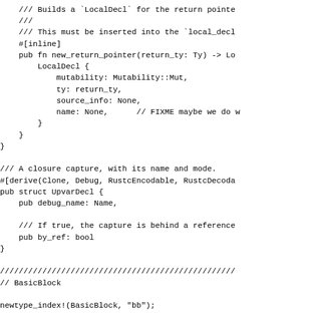/// Builds a `LocalDecl` for the return pointer.
///
/// This must be inserted into the `local_decl
#[inline]
pub fn new_return_pointer(return_ty: Ty) -> Lo
    LocalDecl {
        mutability: Mutability::Mut,
        ty: return_ty,
        source_info: None,
        name: None,      // FIXME maybe we do w
    }
}

/// A closure capture, with its name and mode.
#[derive(Clone, Debug, RustcEncodable, RustcDecoda
pub struct UpvarDecl {
    pub debug_name: Name,

    /// If true, the capture is behind a reference
    pub by_ref: bool
}

//////////////////////////////////////////////////
// BasicBlock

newtype_index!(BasicBlock, "bb");

//////////////////////////////////////////////////
// BasicBlockData and Terminator